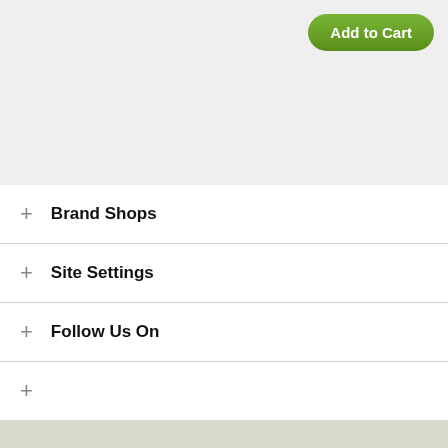[Figure (other): Green 'Add to Cart' button in top-right corner of a light gray section]
+ Brand Shops
+ Site Settings
+ Follow Us On
+
Pricing Disclaimer
Privacy Policy
Terms & Conditions
Copyright ©1995-2022
Site powered by ChannelOnline